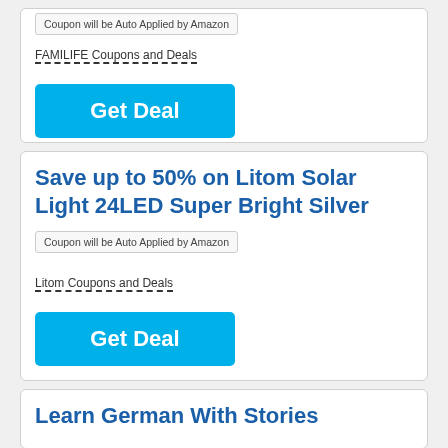Coupon will be Auto Applied by Amazon
FAMILIFE Coupons and Deals
Get Deal
Save up to 50% on Litom Solar Light 24LED Super Bright Silver
Coupon will be Auto Applied by Amazon
Litom Coupons and Deals
Get Deal
Learn German With Stories